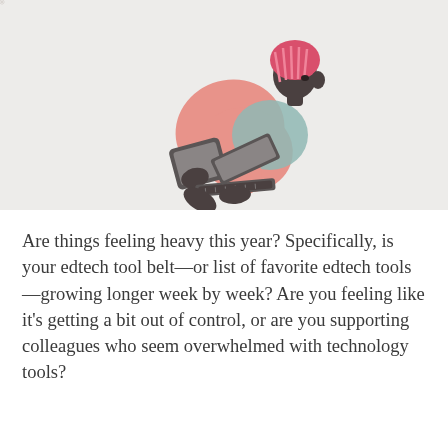[Figure (illustration): Illustration of a person with pink/red hair sitting and using both a tablet and a laptop simultaneously, rendered in a flat graphic style with muted pink, salmon, teal, and dark gray colors, against a light gray patterned background.]
Are things feeling heavy this year? Specifically, is your edtech tool belt—or list of favorite edtech tools—growing longer week by week? Are you feeling like it's getting a bit out of control, or are you supporting colleagues who seem overwhelmed with technology tools?